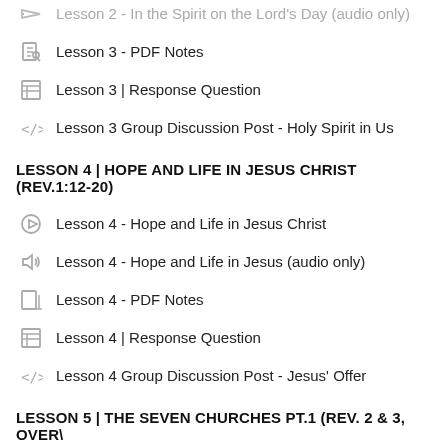Lesson 3 - PDF Notes
Lesson 3 | Response Question
Lesson 3 Group Discussion Post - Holy Spirit in Us
LESSON 4 | HOPE AND LIFE IN JESUS CHRIST (REV.1:12-20)
Lesson 4 - Hope and Life in Jesus Christ
Lesson 4 - Hope and Life in Jesus (audio only)
Lesson 4 - PDF Notes
Lesson 4 | Response Question
Lesson 4 Group Discussion Post - Jesus' Offer
LESSON 5 | THE SEVEN CHURCHES PT.1 (REV. 2 & 3, OVERVIEW)
Lesson 5 - The Seven Churches, Part 1
Lesson 5 - The Seven Churches, part 1 (audio only)